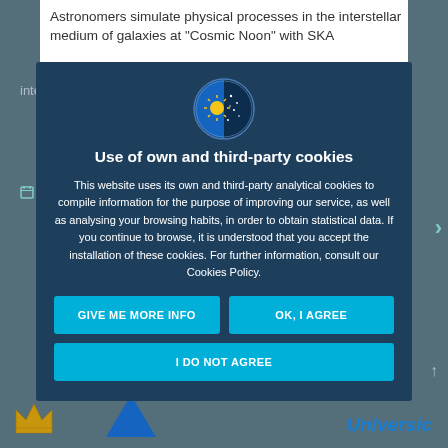Astronomers simulate physical processes in the interstellar medium of galaxies at "Cosmic Noon" with SKA
Advertised on: 25/07/2022 - 10:42
Use of own and third-party cookies
This website uses its own and third-party analytical cookies to compile information for the purpose of improving our service, as well as analysing your browsing habits, in order to obtain statistical data. If you continue to browse, it is understood that you accept the installation of these cookies. For further information, consult our Cookies Policy.
GIVE ME MORE INFO
OK, I AGREE
I DO NOT AGREE